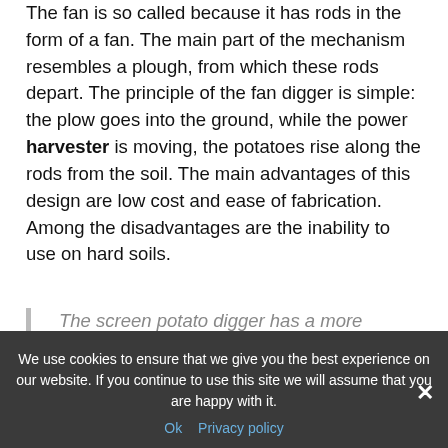The fan is so called because it has rods in the form of a fan. The main part of the mechanism resembles a plough, from which these rods depart. The principle of the fan digger is simple: the plow goes into the ground, while the power harvester is moving, the potatoes rise along the rods from the soil. The main advantages of this design are low cost and ease of fabrication. Among the disadvantages are the inability to use on hard soils.
The screen potato digger has a more complicated design. It has additional wheels and support points. It also has a grid which is at an angle to the surface of the earth. The...
We use cookies to ensure that we give you the best experience on our website. If you continue to use this site we will assume that you are happy with it.
Ok  Privacy policy